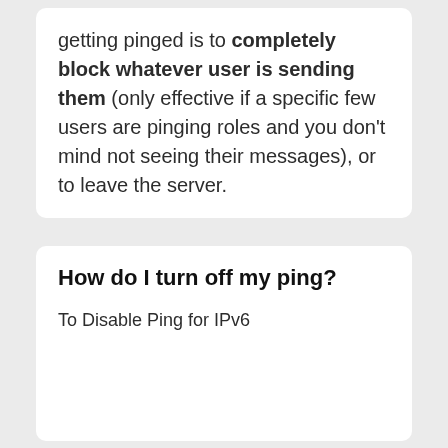getting pinged is to completely block whatever user is sending them (only effective if a specific few users are pinging roles and you don't mind not seeing their messages), or to leave the server.
How do I turn off my ping?
To Disable Ping for IPv6